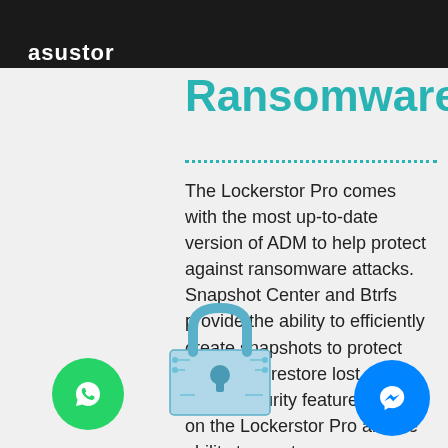asustor
Ransomware
The Lockerstor Pro comes with the most up-to-date version of ADM to help protect against ransomware attacks. Snapshot Center and Btrfs provide the ability to efficiently create snapshots to protect and easily restore lost data. Other security features found on the Lockerstor Pro are the ability to create one or more replacement administrator
[Figure (illustration): A digital padlock illustration with circuit board patterns in blue/teal tones]
[Figure (logo): WhatsApp button - green circle with white phone icon]
[Figure (logo): Facebook Messenger button - blue circle with white lightning bolt messenger icon]